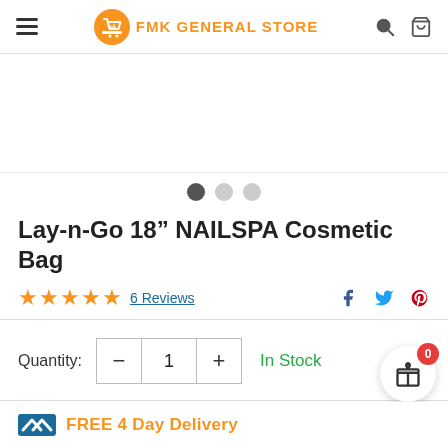FMK GENERAL STORE
[Figure (other): Product image area (mostly white/blank visible portion of cosmetic bag image)]
Lay-n-Go 18” NAILSPA Cosmetic Bag
★★★★★ 6 Reviews
Quantity: - 1 + In Stock
FREE 4 Day Delivery (partial, cut off)